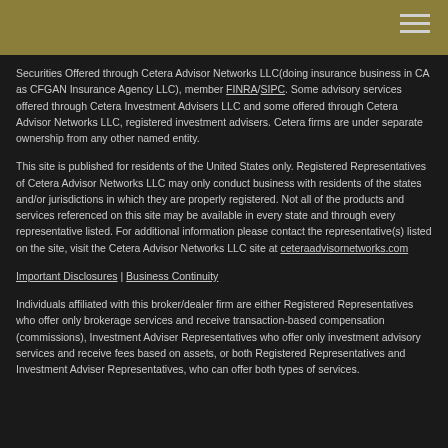[Header bar with menu icon]
Securities Offered through Cetera Advisor Networks LLC(doing insurance business in CA as CFGAN Insurance Agency LLC), member FINRA/SIPC. Some advisory services offered through Cetera Investment Advisers LLC and some offered through Cetera Advisor Networks LLC, registered investment advisers. Cetera firms are under separate ownership from any other named entity.
This site is published for residents of the United States only. Registered Representatives of Cetera Advisor Networks LLC may only conduct business with residents of the states and/or jurisdictions in which they are properly registered. Not all of the products and services referenced on this site may be available in every state and through every representative listed. For additional information please contact the representative(s) listed on the site, visit the Cetera Advisor Networks LLC site at ceteraadvisornetworks.com
Important Disclosures | Business Continuity
Individuals affiliated with this broker/dealer firm are either Registered Representatives who offer only brokerage services and receive transaction-based compensation (commissions), Investment Adviser Representatives who offer only investment advisory services and receive fees based on assets, or both Registered Representatives and Investment Adviser Representatives, who can offer both types of services.